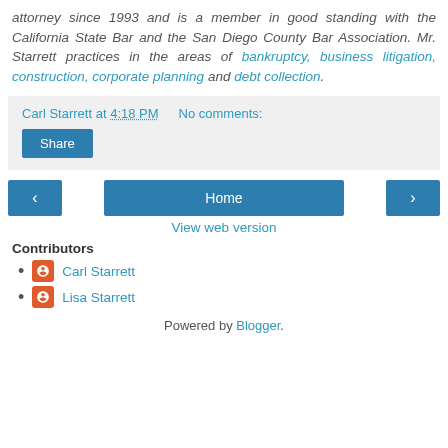attorney since 1993 and is a member in good standing with the California State Bar and the San Diego County Bar Association. Mr. Starrett practices in the areas of bankruptcy, business litigation, construction, corporate planning and debt collection.
Carl Starrett at 4:18 PM   No comments:
Share
Home
View web version
Contributors
Carl Starrett
Lisa Starrett
Powered by Blogger.